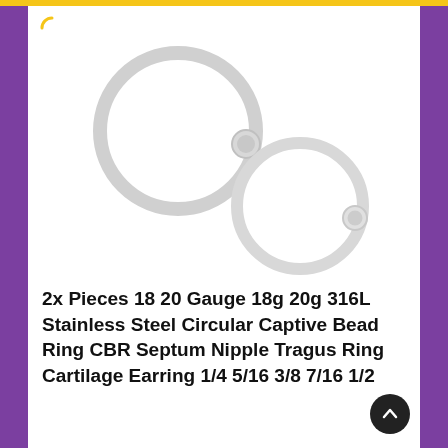[Figure (photo): Product photo showing two circular captive bead rings (CBR) on white background, rendered as light grey outlines with a small bead visible on each ring. Two rings of slightly different sizes are shown at offset positions.]
2x Pieces 18 20 Gauge 18g 20g 316L Stainless Steel Circular Captive Bead Ring CBR Septum Nipple Tragus Ring Cartilage Earring 1/4 5/16 3/8 7/16 1/2